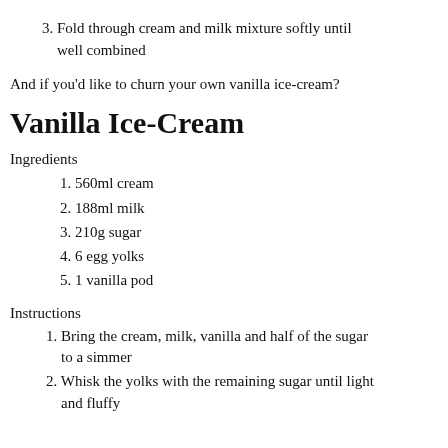3. Fold through cream and milk mixture softly until well combined
And if you'd like to churn your own vanilla ice-cream?
Vanilla Ice-Cream
Ingredients
1. 560ml cream
2. 188ml milk
3. 210g sugar
4. 6 egg yolks
5. 1 vanilla pod
Instructions
1. Bring the cream, milk, vanilla and half of the sugar to a simmer
2. Whisk the yolks with the remaining sugar until light and fluffy